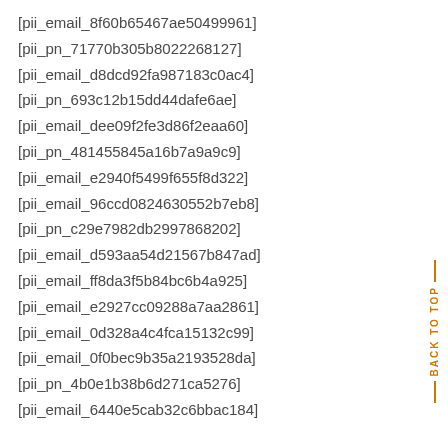[pii_email_8f60b65467ae50499961]
[pii_pn_71770b305b8022268127]
[pii_email_d8dcd92fa987183c0ac4]
[pii_pn_693c12b15dd44dafe6ae]
[pii_email_dee09f2fe3d86f2eaa60]
[pii_pn_481455845a16b7a9a9c9]
[pii_email_e2940f5499f655f8d322]
[pii_email_96ccd0824630552b7eb8]
[pii_pn_c29e7982db2997868202]
[pii_email_d593aa54d21567b847ad]
[pii_email_ff8da3f5b84bc6b4a925]
[pii_email_e2927cc09288a7aa2861]
[pii_email_0d328a4c4fca15132c99]
[pii_email_0f0bec9b35a2193528da]
[pii_pn_4b0e1b38b6d271ca5276]
[pii_email_6440e5cab32c6bbac184]